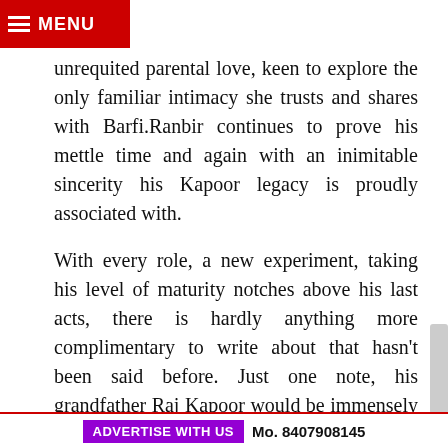MENU
unrequited parental love, keen to explore the only familiar intimacy she trusts and shares with Barfi.Ranbir continues to prove his mettle time and again with an inimitable sincerity his Kapoor legacy is proudly associated with.
With every role, a new experiment, taking his level of maturity notches above his last acts, there is hardly anything more complimentary to write about that hasn't been said before. Just one note, his grandfather Raj Kapoor would be immensely delighted that if anyone had to be the new generation's showman it is his grandson.
If Fashion captured Priyanka's strength as the commercial masala heroine, with Barfi! she establishes a formidable dimension to her prowess as an actress.
ADVERTISE WITH US   Mo. 8407908145